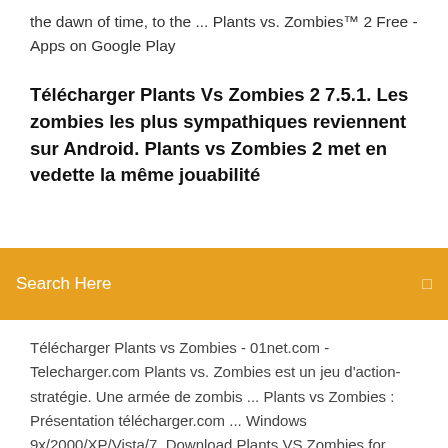the dawn of time, to the ... Plants vs. Zombies™ 2 Free - Apps on Google Play
Télécharger Plants Vs Zombies 2 7.5.1. Les zombies les plus sympathiques reviennent sur Android. Plants vs Zombies 2 met en vedette la même jouabilité
[Figure (screenshot): Orange search bar with 'Search Here' placeholder text and a search icon on the right]
Télécharger Plants vs Zombies - 01net.com - Telecharger.com Plants vs. Zombies est un jeu d'action-stratégie. Une armée de zombis ... Plants vs Zombies : Présentation télécharger.com ... Windows 9x/2000/XP/Vista/7. Download Plants VS Zombies for Windows 10 and Windows 7 Download Plants VS Zombies for Windows 10, Windows 7 and Windows XP free. ... Slipstream is a simulator of vehicles races in real time with free download. ... This is a typical resource of games in two dimensions and consists on pressing ... PLANTS VS ZOMBIES 2: GAME GUIDE,